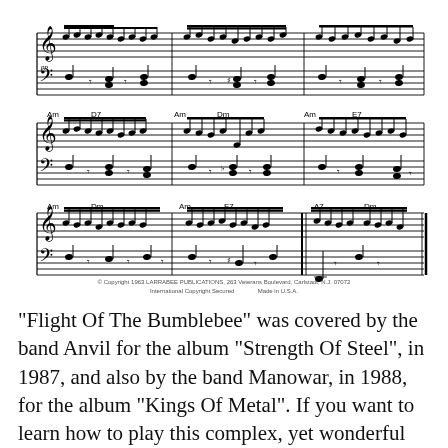[Figure (illustration): Three rows of piano sheet music notation showing treble and bass clef staves with notes, chord symbols (Am, D7, Dm, E7, A7), beamed notes, dynamic marking pp, and bar lines. The music appears to be an arrangement, likely Flight of the Bumblebee.]
© Copyright 1963 LARRABEE PUBLICATIONS, 263 Veterans Boulevard, Carlstadt, N.J. 07072
International Copyright Secured    Made in U.S.A.
"Flight Of The Bumblebee" was covered by the band Anvil for the album "Strength Of Steel", in 1987, and also by the band Manowar, in 1988, for the album "Kings Of Metal". If you want to learn how to play this complex, yet wonderful piece at